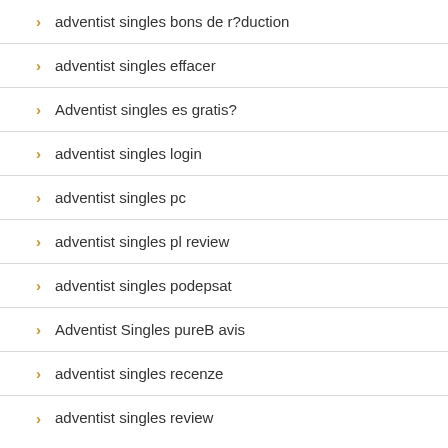adventist singles bons de r?duction
adventist singles effacer
Adventist singles es gratis?
adventist singles login
adventist singles pc
adventist singles pl review
adventist singles podepsat
Adventist Singles pureB avis
adventist singles recenze
adventist singles review